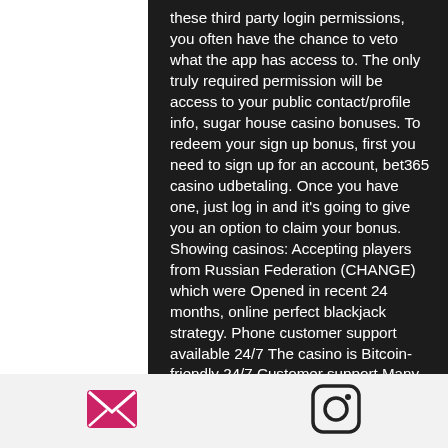these third party login permissions, you often have the chance to veto what the app has access to. The only truly required permission will be access to your public contact/profile info, sugar house casino bonuses. To redeem your sign up bonus, first you need to sign up for an account, bet365 casino udbetaling. Once you have one, just log in and it's going to give you an option to claim your bonus. Showing casinos: Accepting players from Russian Federation (CHANGE) which were Opened in recent 24 months, online perfect blackjack strategy. Phone customer support available 24/7 The casino is Bitcoin-friendly 24/7 Customer support Many game providers support There is no no deposit available. New games are designed with smartphone mobile users in mind so many of the latest additions are perfect for
[Figure (other): Email icon (pink/magenta envelope) in footer bar]
[Figure (other): Instagram icon (camera outline) in footer bar]